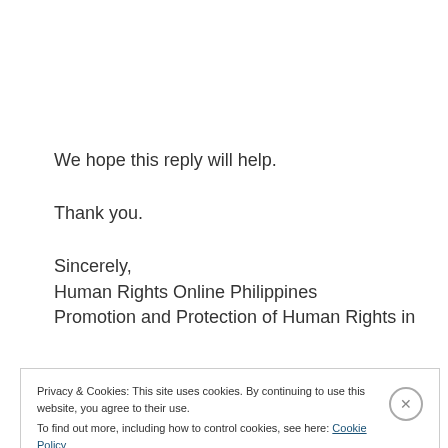We hope this reply will help.

Thank you.

Sincerely,
Human Rights Online Philippines
Promotion and Protection of Human Rights in
Privacy & Cookies: This site uses cookies. By continuing to use this website, you agree to their use.
To find out more, including how to control cookies, see here: Cookie Policy
Close and accept
HUMAN RIGHTS PH